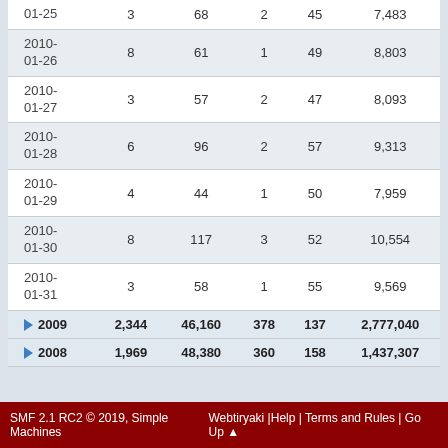| Date |  |  |  |  |  |
| --- | --- | --- | --- | --- | --- |
| 01-25 | 3 | 68 | 2 | 45 | 7,483 |
| 2010-01-26 | 8 | 61 | 1 | 49 | 8,803 |
| 2010-01-27 | 3 | 57 | 2 | 47 | 8,093 |
| 2010-01-28 | 6 | 96 | 2 | 57 | 9,313 |
| 2010-01-29 | 4 | 44 | 1 | 50 | 7,959 |
| 2010-01-30 | 8 | 117 | 3 | 52 | 10,554 |
| 2010-01-31 | 3 | 58 | 1 | 55 | 9,569 |
| ▶ 2009 | 2,344 | 46,160 | 378 | 137 | 2,777,040 |
| ▶ 2008 | 1,969 | 48,380 | 360 | 158 | 1,437,307 |
SMF 2.1 RC2 © 2019, Simple Machines | Webtiryaki | Help | Terms and Rules | Go Up ▲